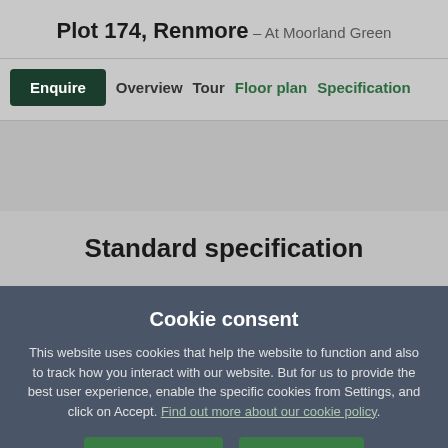Plot 174, Renmore – At Moorland Green
Enquire | Overview | Tour | Floor plan | Specification
Standard specification
Cookie consent
This website uses cookies that help the website to function and also to track how you interact with our website. But for us to provide the best user experience, enable the specific cookies from Settings, and click on Accept. Find out more about our cookie policy.
Preferences | Accept All